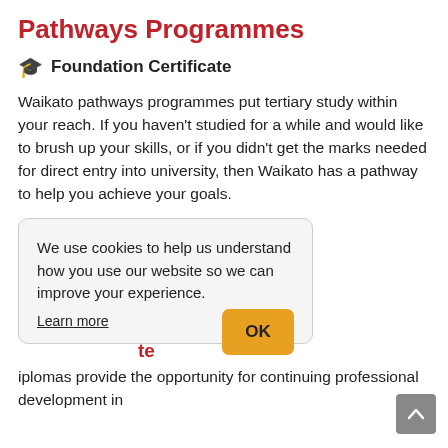Pathways Programmes
🎓 Foundation Certificate
Waikato pathways programmes put tertiary study within your reach. If you haven't studied for a while and would like to brush up your skills, or if you didn't get the marks needed for direct entry into university, then Waikato has a pathway to help you achieve your goals.
We use cookies to help us understand how you use our website so we can improve your experience. Learn more
iplomas provide the opportunity for continuing professional development in